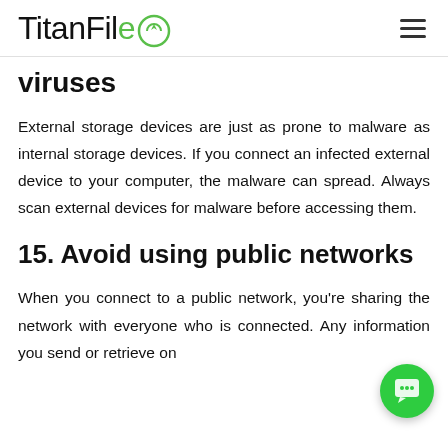TitanFile
viruses
External storage devices are just as prone to malware as internal storage devices. If you connect an infected external device to your computer, the malware can spread. Always scan external devices for malware before accessing them.
15. Avoid using public networks
When you connect to a public network, you're sharing the network with everyone who is connected. Any information you send or retrieve on